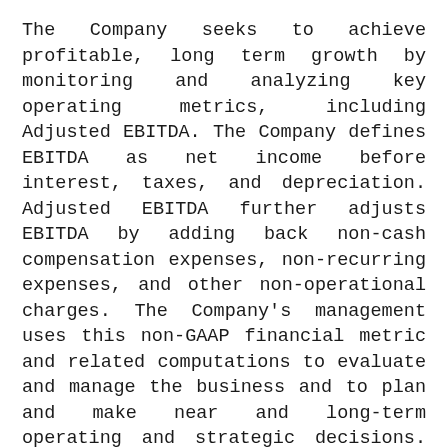The Company seeks to achieve profitable, long term growth by monitoring and analyzing key operating metrics, including Adjusted EBITDA. The Company defines EBITDA as net income before interest, taxes, and depreciation. Adjusted EBITDA further adjusts EBITDA by adding back non-cash compensation expenses, non-recurring expenses, and other non-operational charges. The Company's management uses this non-GAAP financial metric and related computations to evaluate and manage the business and to plan and make near and long-term operating and strategic decisions. The management team believes this non-GAAP